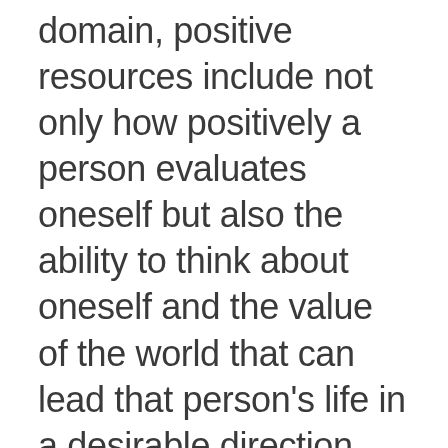domain, positive resources include not only how positively a person evaluates oneself but also the ability to think about oneself and the value of the world that can lead that person's life in a desirable direction. From an emotional perspective, a positive emotion regulation strategy that...